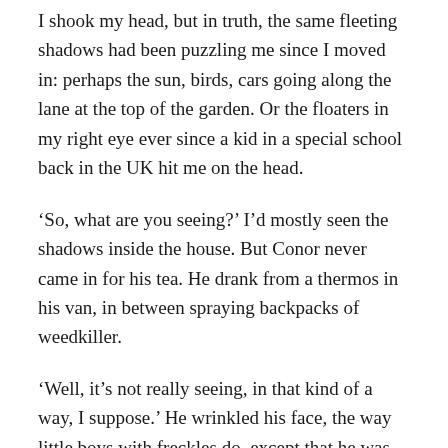I shook my head, but in truth, the same fleeting shadows had been puzzling me since I moved in: perhaps the sun, birds, cars going along the lane at the top of the garden. Or the floaters in my right eye ever since a kid in a special school back in the UK hit me on the head.
‘So, what are you seeing?’ I’d mostly seen the shadows inside the house. But Conor never came in for his tea. He drank from a thermos in his van, in between spraying backpacks of weedkiller.
‘Well, it’s not really seeing, in that kind of a way, I suppose.’ He wrinkled his face, the way little boys with freckles do, except that he was about my age. ‘See, you’re probably built on a fairy road, here.’
‘A what.’